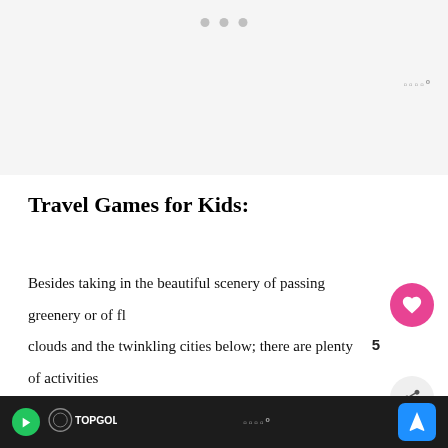[Figure (other): Gray advertisement banner at the top of the page with three dots centered at top]
Travel Games for Kids:
Besides taking in the beautiful scenery of passing greenery or of fl... clouds and the twinkling cities below; there are plenty of activities that you can do. Laughing, joking, and playing games like our License Plate Word Search Travel Game help to make the time ...
[Figure (other): Bottom navigation bar with Topgolf logo, play button, wifi-style icon, and blue navigation arrow button]
[Figure (other): What's Next panel showing 10 Items To Make Toddle... with thumbnail image]